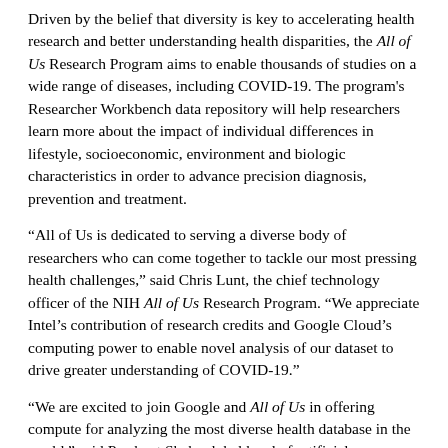Driven by the belief that diversity is key to accelerating health research and better understanding health disparities, the All of Us Research Program aims to enable thousands of studies on a wide range of diseases, including COVID-19. The program's Researcher Workbench data repository will help researchers learn more about the impact of individual differences in lifestyle, socioeconomic, environment and biologic characteristics in order to advance precision diagnosis, prevention and treatment.
“All of Us is dedicated to serving a diverse body of researchers who can come together to tackle our most pressing health challenges,” said Chris Lunt, the chief technology officer of the NIH All of Us Research Program. “We appreciate Intel’s contribution of research credits and Google Cloud’s computing power to enable novel analysis of our dataset to drive greater understanding of COVID-19.”
“We are excited to join Google and All of Us in offering compute for analyzing the most diverse health database in the world,” said Prashant Shah, global head of artificial intelligence for Health and